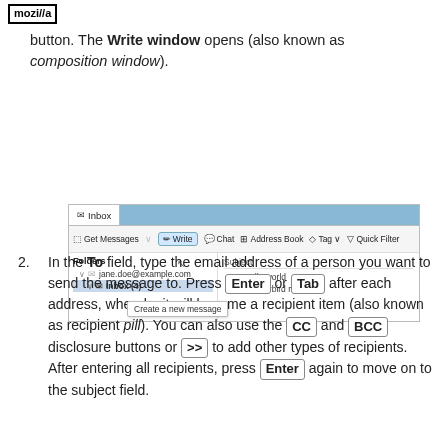[Figure (screenshot): Mozilla Thunderbird logo in header bar]
button. The Write window opens (also known as composition window).
[Figure (screenshot): Thunderbird email client screenshot showing Inbox tab, toolbar with Get Messages, Write (highlighted), Chat, Address Book, Tag, Quick Filter buttons, Folders panel with jane.doe@example.com and Inbox (4), and message list showing Subject, Hello world, Thunderbird rocks. A tooltip 'Create a new message' is visible under the Write button.]
In the To field, type the email address of a person you want to send the message to. Press Enter or Tab after each address, whereby it will become a recipient item (also known as recipient pill). You can also use the CC and BCC disclosure buttons or >> to add other types of recipients. After entering all recipients, press Enter again to move on to the subject field.